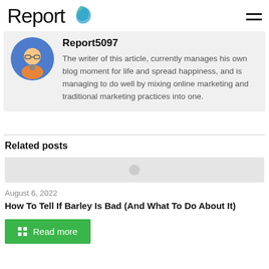Report
Report5097
The writer of this article, currently manages his own blog moment for life and spread happiness, and is managing to do well by mixing online marketing and traditional marketing practices into one.
Related posts
August 6, 2022
How To Tell If Barley Is Bad (And What To Do About It)
Read more